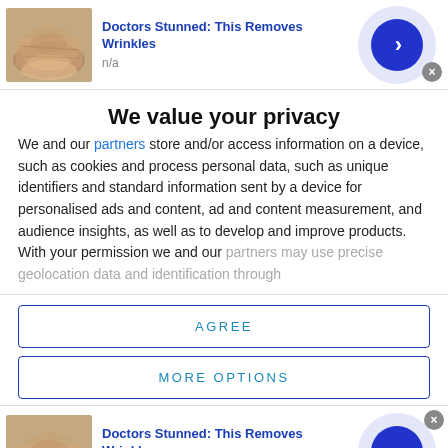[Figure (photo): Ad banner showing close-up of aged skin/lips with title 'Doctors Stunned: This Removes Wrinkles', n/a subtitle, blue arrow button, and close X button]
We value your privacy
We and our partners store and/or access information on a device, such as cookies and process personal data, such as unique identifiers and standard information sent by a device for personalised ads and content, ad and content measurement, and audience insights, as well as to develop and improve products. With your permission we and our partners may use precise geolocation data and identification through
AGREE
MORE OPTIONS
[Figure (photo): Second ad banner showing close-up of aged skin/lips with title 'Doctors Stunned: This Removes Wrinkles', n/a subtitle, blue arrow button, and close X button]